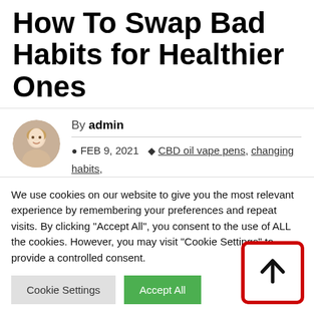How To Swap Bad Habits for Healthier Ones
By admin  FEB 9, 2021  CBD oil vape pens, changing habits, How To Swap Bad Habits for Healthier Ones, ready to change, right mindset
We use cookies on our website to give you the most relevant experience by remembering your preferences and repeat visits. By clicking "Accept All", you consent to the use of ALL the cookies. However, you may visit "Cookie Settings" to provide a controlled consent.
[Figure (illustration): Scroll-to-top button with upward arrow, red border, white background]